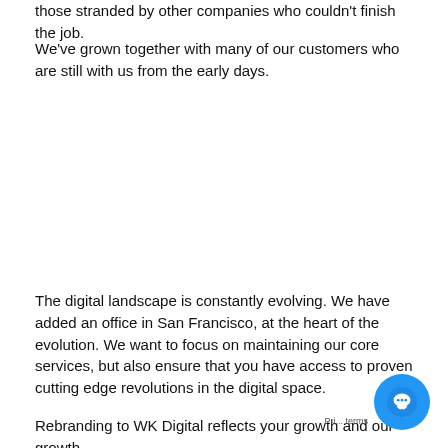those stranded by other companies who couldn't finish the job.
We've grown together with many of our customers who are still with us from the early days.
The digital landscape is constantly evolving. We have added an office in San Francisco, at the heart of the evolution. We want to focus on maintaining our core services, but also ensure that you have access to proven cutting edge revolutions in the digital space.
Rebranding to WK Digital reflects your growth and our growth.